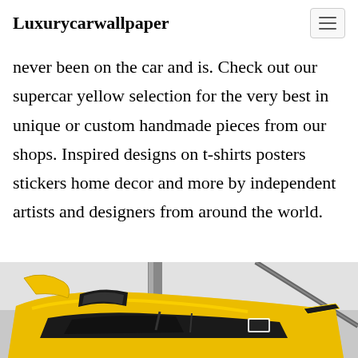Luxurycarwallpaper
never been on the car and is. Check out our supercar yellow selection for the very best in unique or custom handmade pieces from our shops. Inspired designs on t-shirts posters stickers home decor and more by independent artists and designers from around the world.
[Figure (photo): Close-up photo of a yellow and black supercar, partially visible from above, on a light grey background]